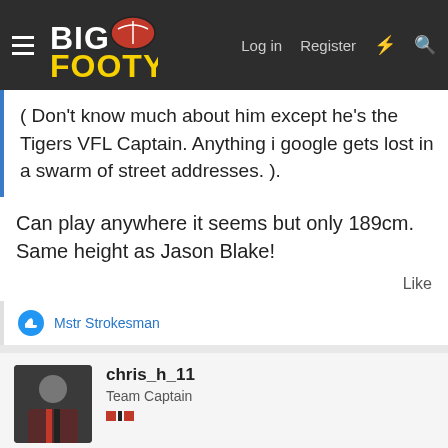BigFooty — Log in | Register
( Don't know much about him except he's the Tigers VFL Captain. Anything i google gets lost in a swarm of street addresses. ).
Can play anywhere it seems but only 189cm. Same height as Jason Blake!
Like
Mstr Strokesman
chris_h_11
Team Captain
[Figure (screenshot): Advertisement bar showing BELK brand with blue circle graphic and close button]